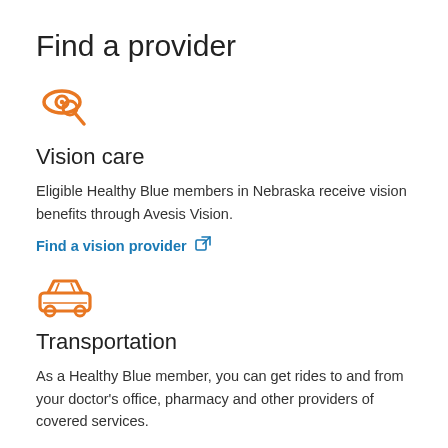Find a provider
[Figure (illustration): Orange eye/search icon representing vision care]
Vision care
Eligible Healthy Blue members in Nebraska receive vision benefits through Avesis Vision.
Find a vision provider [external link icon]
[Figure (illustration): Orange car icon representing transportation]
Transportation
As a Healthy Blue member, you can get rides to and from your doctor’s office, pharmacy and other providers of covered services.
Call IntelliRide at 844-531-3783 or visit